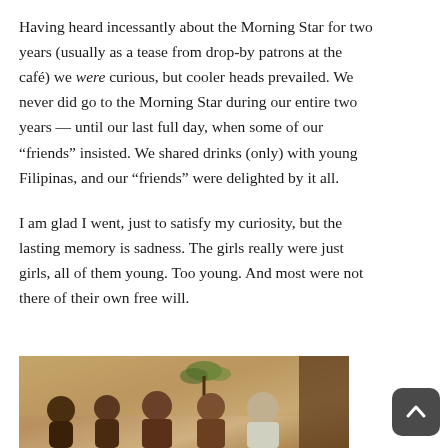Having heard incessantly about the Morning Star for two years (usually as a tease from drop-by patrons at the café) we were curious, but cooler heads prevailed. We never did go to the Morning Star during our entire two years — until our last full day, when some of our “friends” insisted. We shared drinks (only) with young Filipinas, and our “friends” were delighted by it all.
I am glad I went, just to satisfy my curiosity, but the lasting memory is sadness. The girls really were just girls, all of them young. Too young. And most were not there of their own free will.
[Figure (photo): Sepia-toned photograph showing a group of people, partially visible at the bottom of the page. Multiple individuals visible including women and men.]